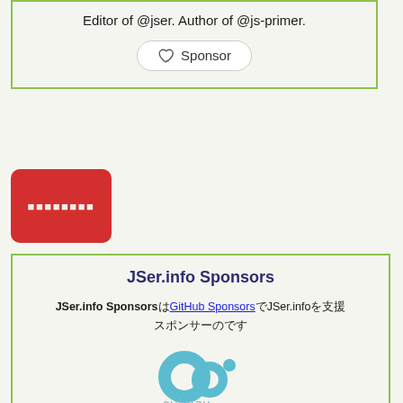Editor of @jser. Author of @js-primer.
Sponsor
[Figure (other): Red button with Japanese text]
JSer.info Sponsors
JSer.info Sponsors は GitHub Sponsors で JSer.info の運営を支援してくれているスポンサーです。
[Figure (logo): Cybozu logo with teal circular icons and text 'cybozu']